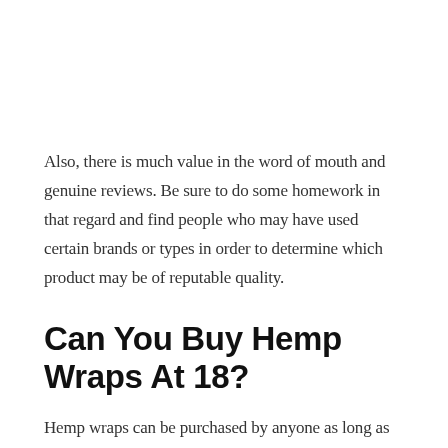Also, there is much value in the word of mouth and genuine reviews. Be sure to do some homework in that regard and find people who may have used certain brands or types in order to determine which product may be of reputable quality.
Can You Buy Hemp Wraps At 18?
Hemp wraps can be purchased by anyone as long as they originate from hemp and not cannabis. On